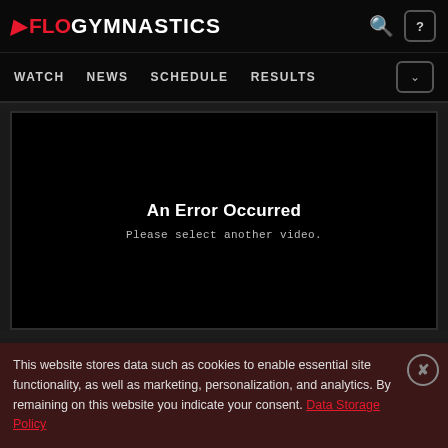FLOGYMNASTICS
WATCH  NEWS  SCHEDULE  RESULTS
[Figure (screenshot): Black video player area showing error message: 'An Error Occurred' with subtext 'Please select another video.']
This website stores data such as cookies to enable essential site functionality, as well as marketing, personalization, and analytics. By remaining on this website you indicate your consent. Data Storage Policy